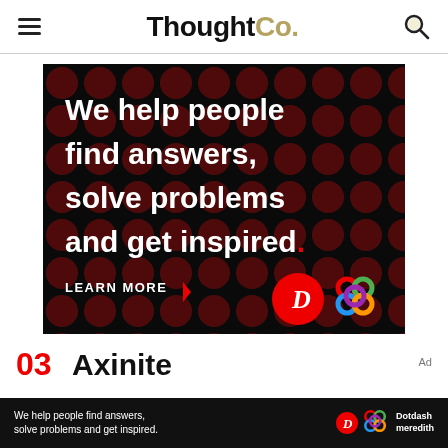ThoughtCo.
[Figure (infographic): Dark advertisement banner with red dot pattern background. Text reads: 'We help people find answers, solve problems and get inspired.' with 'LEARN MORE' button and Dotdash/Meredith logos.]
03
Axinite
Ad
[Figure (infographic): Bottom advertisement bar with dark background: 'We help people find answers, solve problems and get inspired.' with Dotdash Meredith logo.]